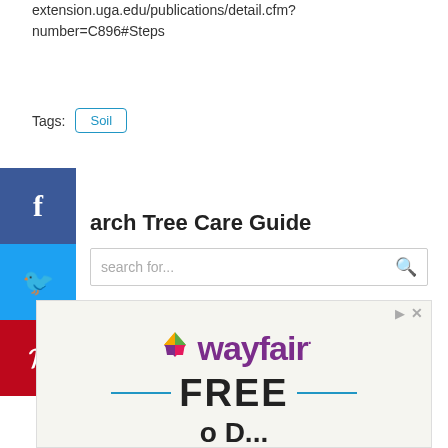extension.uga.edu/publications/detail.cfm?number=C896#Steps
Tags: Soil
arch Tree Care Guide
search for...
[Figure (screenshot): Wayfair advertisement showing the Wayfair logo with colorful diamond icon and text reading FREE]